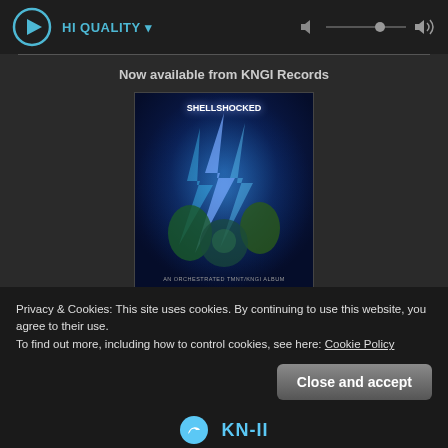[Figure (screenshot): Music player bar with play button, HI QUALITY label with dropdown caret, and volume slider controls on dark background]
Now available from KNGI Records
[Figure (illustration): Teenage Mutant Ninja Turtles: Shell Shocked album cover art with electric blue lightning and stylized graffiti title text]
Teenage Mutant Ninja Turtles: Shell Shocked
[Figure (logo): Discord logo: purple rounded square icon with white controller-like symbol, followed by DISCORD text in purple]
Privacy & Cookies: This site uses cookies. By continuing to use this website, you agree to their use.
To find out more, including how to control cookies, see here: Cookie Policy
Close and accept